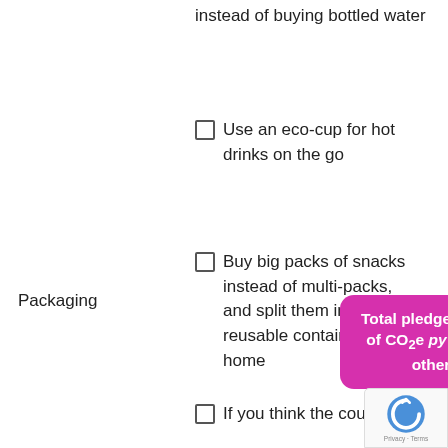instead of buying bottled water
Use an eco-cup for hot drinks on the go
Buy big packs of snacks instead of multi-packs, and split them into reusable containers at home
Packaging
Total pledged: 0 kg of CO₂e py plus 0 other
If you think the council